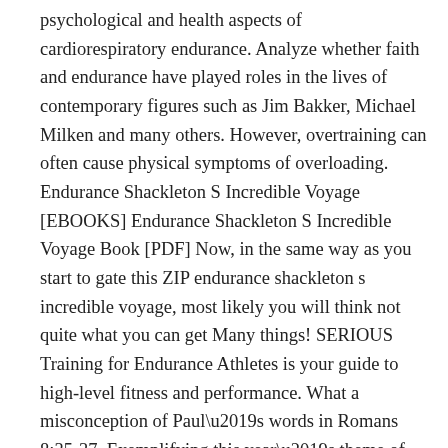psychological and health aspects of cardiorespiratory endurance. Analyze whether faith and endurance have played roles in the lives of contemporary figures such as Jim Bakker, Michael Milken and many others. However, overtraining can often cause physical symptoms of overloading. Endurance Shackleton S Incredible Voyage [EBOOKS] Endurance Shackleton S Incredible Voyage Book [PDF] Now, in the same way as you start to gate this ZIP endurance shackleton s incredible voyage, most likely you will think not quite what you can get Many things! SERIOUS Training for Endurance Athletes is your guide to high-level fitness and performance. What a misconception of Paul’s words in Romans 8:35-37. Exemplifying this year’s theme of exploration and discovery, Endruance takes us on a fateful voyage to the ice-bound Antaractic seas. Some of the techniques listed in Endurance: Shackletons Incredible Voyage may require a sound knowledge of Hypnosis, users are advised to either leave those sections or must have a basic understanding of the subject before practicing them.